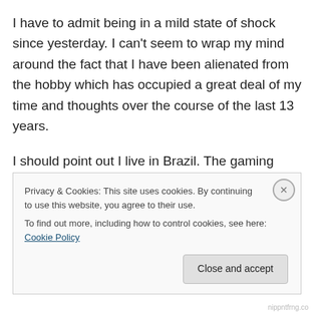I have to admit being in a mild state of shock since yesterday. I can't seem to wrap my mind around the fact that I have been alienated from the hobby which has occupied a great deal of my time and thoughts over the course of the last 13 years.
I should point out I live in Brazil. The gaming community here is pretty spread apart and even if there were stores carrying GW products at reasonable prices here, which there aren't,  'd still have to travel an average 1.500 Kilometers to get to them, so it should come as no
Privacy & Cookies: This site uses cookies. By continuing to use this website, you agree to their use.
To find out more, including how to control cookies, see here: Cookie Policy
nippntfrng.co